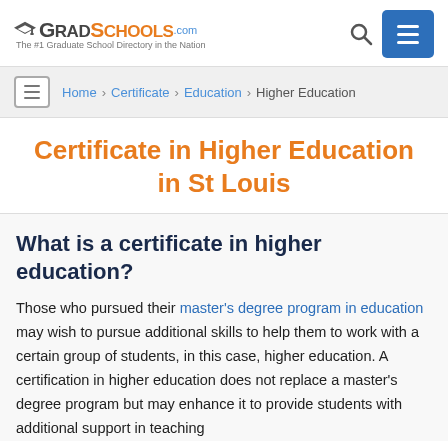[Figure (logo): GradSchools.com logo with graduation cap icon, tagline: The #1 Graduate School Directory in the Nation]
Home > Certificate > Education > Higher Education
Certificate in Higher Education in St Louis
What is a certificate in higher education?
Those who pursued their master's degree program in education may wish to pursue additional skills to help them to work with a certain group of students, in this case, higher education. A certification in higher education does not replace a master's degree program but may enhance it to provide students with additional support in teaching